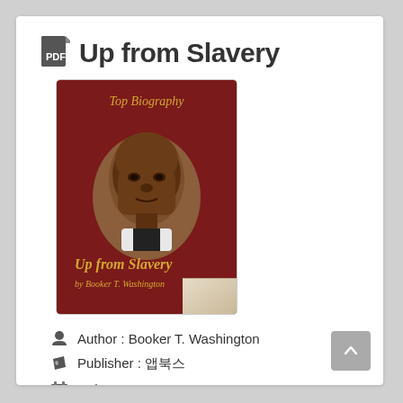Up from Slavery
[Figure (illustration): Book cover of 'Up from Slavery' by Booker T. Washington — dark red cover with 'Top Biography' label, portrait of Booker T. Washington, title and author name at bottom with curled page corner effect]
Author : Booker T. Washington
Publisher : 앱북스
Release : 2015-11-17
ISBN : 0987650XXX